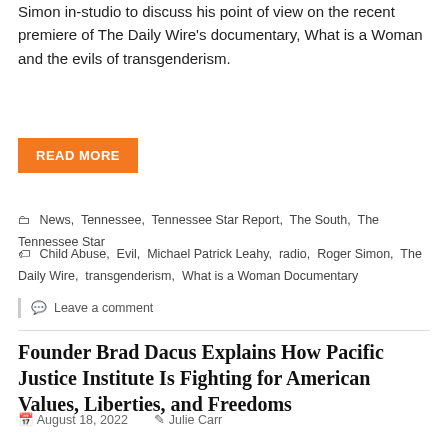Simon in-studio to discuss his point of view on the recent premiere of The Daily Wire's documentary, What is a Woman and the evils of transgenderism.
READ MORE
News, Tennessee, Tennessee Star Report, The South, The Tennessee Star
Child Abuse, Evil, Michael Patrick Leahy, radio, Roger Simon, The Daily Wire, transgenderism, What is a Woman Documentary
Leave a comment
Founder Brad Dacus Explains How Pacific Justice Institute Is Fighting for American Values, Liberties, and Freedoms
August 18, 2022   Julie Carr
Thursday morning on The Tennessee Star Report, host Leahy welcomed the president and founder of the Pacific Justice Institute, Brad Dacus to the newsmaker line to explain what they are doing to